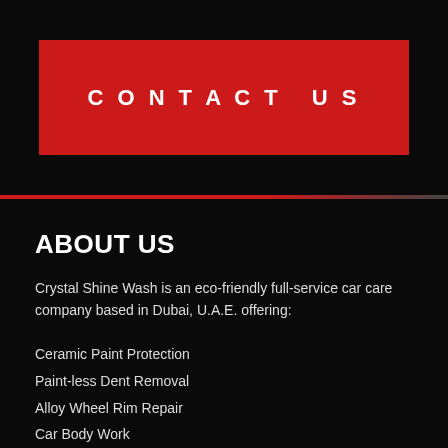CONTACT US
ABOUT US
Crystal Shine Wash is an eco-friendly full-service car care company based in Dubai, U.A.E. offering:
Ceramic Paint Protection
Paint-less Dent Removal
Alloy Wheel Rim Repair
Car Body Work
Car Windscreen Repair